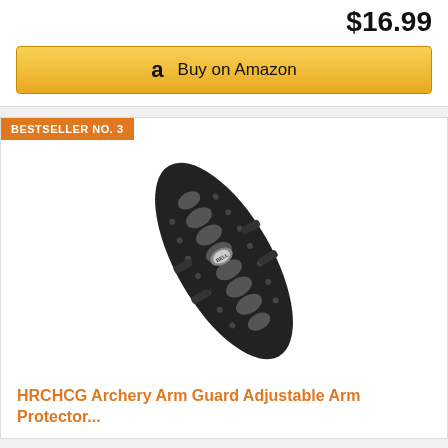$16.99
Buy on Amazon
BESTSELLER NO. 3
[Figure (photo): HRCHCG Archery Arm Guard - a black plastic arm protector with wave-pattern cutouts and perforations, shown at an angle on a white background.]
HRCHCG Archery Arm Guard Adjustable Arm Protector...